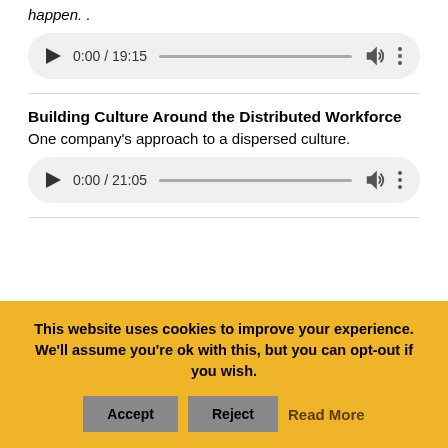happen. .
[Figure (other): Audio player showing 0:00 / 19:15 with progress bar, volume and more icons]
Building Culture Around the Distributed Workforce
One company's approach to a dispersed culture.
[Figure (other): Audio player showing 0:00 / 21:05 with progress bar, volume and more icons]
This website uses cookies to improve your experience. We'll assume you're ok with this, but you can opt-out if you wish.